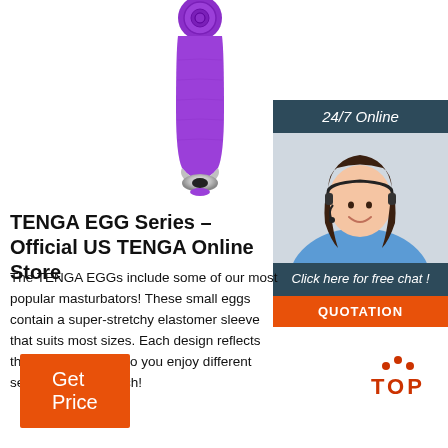[Figure (photo): Purple vibrator product photo on white background, showing a purple silicone device with a silver tip and power button on top]
[Figure (infographic): Chat widget showing '24/7 Online' header in dark teal, a photo of a smiling woman with a headset, 'Click here for free chat!' text, and an orange QUOTATION button]
TENGA EGG Series – Official US TENGA Online Store
The TENGA EGGs include some of our most popular masturbators! These small eggs contain a super-stretchy elastomer sleeve that suits most sizes. Each design reflects the internal details so you enjoy different sensations from each!
[Figure (logo): TOP button with orange dots above forming an arc and bold orange TOP text]
[Figure (other): Orange 'Get Price' button]